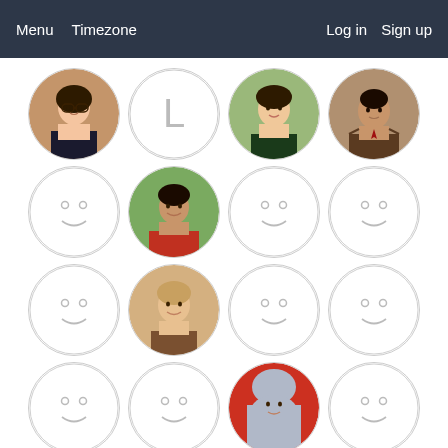Menu  Timezone  Log in  Sign up
[Figure (screenshot): Grid of user profile avatars in a web application. First row: Asian woman with glasses (photo), letter 'L' placeholder, young woman smiling (photo), man in suit (photo). Second row: smiley placeholder, man in red jacket (photo), smiley placeholder, smiley placeholder. Third row: smiley placeholder, older Asian woman (photo), smiley placeholder, smiley placeholder. Fourth row: smiley placeholder, smiley placeholder, woman in hijab (photo), smiley placeholder. Fifth row (partial): smiley placeholder, smiley placeholder, smiley placeholder, letter 'C' placeholder.]